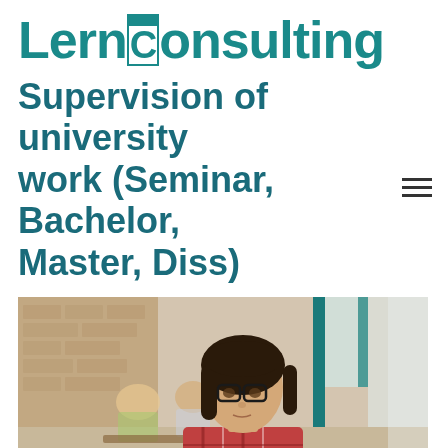LernConsulting
Supervision of university work (Seminar, Bachelor, Master, Diss)
[Figure (photo): A young woman with glasses and dark hair, wearing a plaid shirt, studying/writing at a table in a cafe or university setting. Other students are visible in the blurred background.]